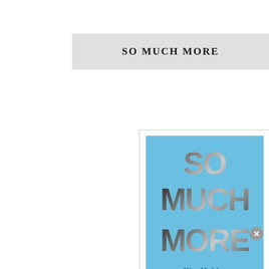SO MUCH MORE
[Figure (illustration): Book cover for 'So Much More' by Kim Holden. Sky blue background with large bold text 'SO MUCH MORE' in a photo-clipping style showing black and white photography through the letterforms. Author name 'Kim Holden' in cursive script at the bottom.]
Advertisements
[Figure (infographic): DuckDuckGo advertisement banner on red background. Text reads: Search, browse, and email with more privacy. All in One Free App. DuckDuckGo logo on dark right panel.]